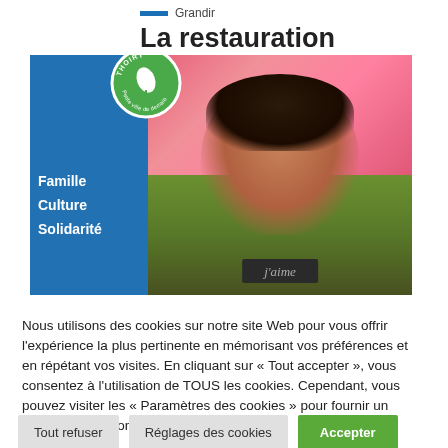La restauration scolaire
[Figure (photo): Screenshot of a municipal website page about school catering (la restauration scolaire) from the commune of Thoiry. Features a smiling young boy holding a small chalkboard with 'j'aime' written on it, with flowers in the background. The blue sidebar contains text: Famille, Culture, Solidarité. A green circular badge with a leaf logo and 'THOIRY' text appears top-left of the image.]
Nous utilisons des cookies sur notre site Web pour vous offrir l'expérience la plus pertinente en mémorisant vos préférences et en répétant vos visites. En cliquant sur « Tout accepter », vous consentez à l'utilisation de TOUS les cookies. Cependant, vous pouvez visiter les « Paramètres des cookies » pour fournir un consentement contrôlé.
Tout refuser
Réglages des cookies
Accepter